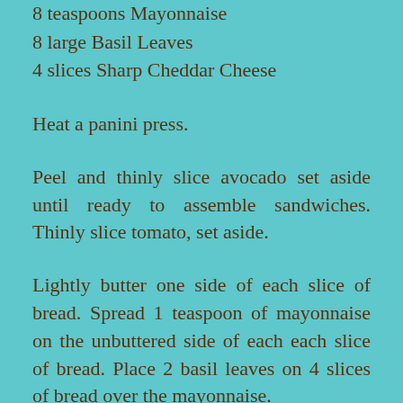8 teaspoons Mayonnaise
8 large Basil Leaves
4 slices Sharp Cheddar Cheese
Heat a panini press.
Peel and thinly slice avocado set aside until ready to assemble sandwiches. Thinly slice tomato, set aside.
Lightly butter one side of each slice of bread. Spread 1 teaspoon of mayonnaise on the unbuttered side of each each slice of bread. Place 2 basil leaves on 4 slices of bread over the mayonnaise.
Layer cheese, chicken, avocado and tomato on